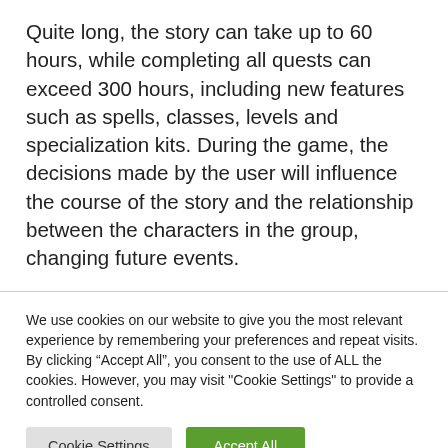Quite long, the story can take up to 60 hours, while completing all quests can exceed 300 hours, including new features such as spells, classes, levels and specialization kits. During the game, the decisions made by the user will influence the course of the story and the relationship between the characters in the group, changing future events.
We use cookies on our website to give you the most relevant experience by remembering your preferences and repeat visits. By clicking “Accept All”, you consent to the use of ALL the cookies. However, you may visit "Cookie Settings" to provide a controlled consent.
Cookie Settings | Accept All